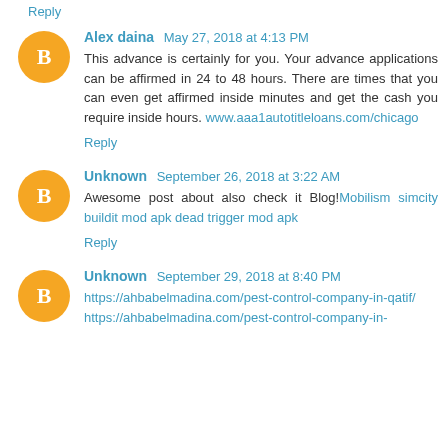Reply
Alex daina  May 27, 2018 at 4:13 PM
This advance is certainly for you. Your advance applications can be affirmed in 24 to 48 hours. There are times that you can even get affirmed inside minutes and get the cash you require inside hours. www.aaa1autotitleloans.com/chicago
Reply
Unknown  September 26, 2018 at 3:22 AM
Awesome post about also check it Blog!Mobilism simcity buildit mod apk dead trigger mod apk
Reply
Unknown  September 29, 2018 at 8:40 PM
https://ahbabelmadina.com/pest-control-company-in-qatif/ https://ahbabelmadina.com/pest-control-company-in-...